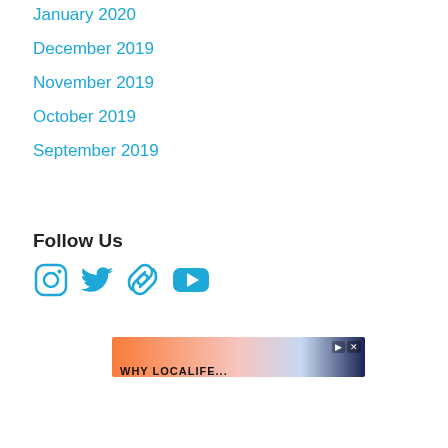January 2020
December 2019
November 2019
October 2019
September 2019
Follow Us
[Figure (infographic): Social media icons: Instagram, Twitter, Link, YouTube]
[Figure (screenshot): Advertisement banner with orange-to-pink gradient and partial text visible]